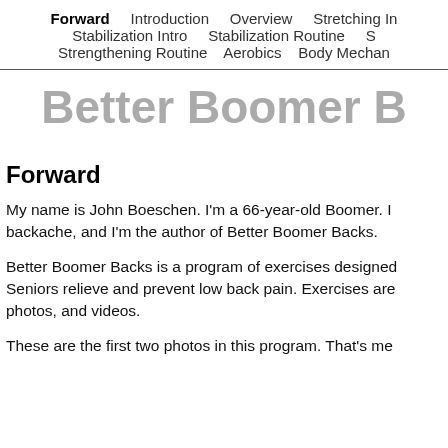Forward   Introduction   Overview   Stretching In   Stabilization Intro   Stabilization Routine   S   Strengthening Routine   Aerobics   Body Mechan
Better Boomer B
Forward
My name is John Boeschen. I'm a 66-year-old Boomer. I backache, and I'm the author of Better Boomer Backs.
Better Boomer Backs is a program of exercises designed Seniors relieve and prevent low back pain. Exercises are photos, and videos.
These are the first two photos in this program. That's me